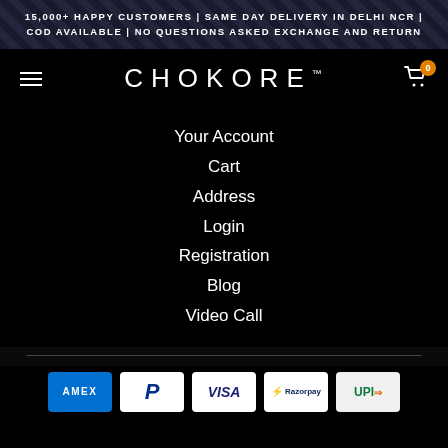15,000+ HAPPY CUSTOMERS | SAME DAY DELIVERY IN DELHI NCR | COD AVAILABLE | NO QUESTIONS ASKED EXCHANGE AND RETURN
[Figure (logo): Chokore brand logo with hamburger menu on left and cart icon with badge '0' on right]
Your Account
Cart
Address
Login
Registration
Blog
Video Call
[Figure (infographic): Payment method icons: American Express (AMEX), PayPal, Visa, Razorpay, UPI]
COPYRIGHT © 2022, Chokore.